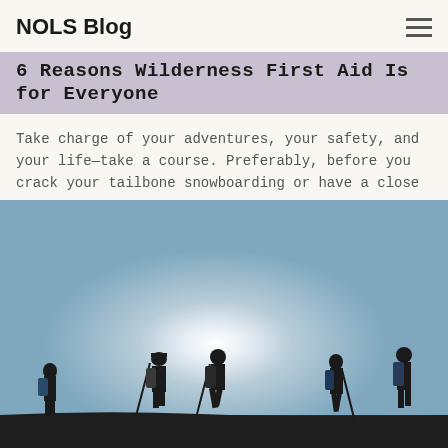NOLS Blog
6 Reasons Wilderness First Aid Is for Everyone
Take charge of your adventures, your safety, and your life—take a course. Preferably, before you crack your tailbone snowboarding or have a close …
[Figure (photo): Silhouettes of five hikers with backpacks and trekking poles walking along a ridgeline against a bright sun and blue sky]